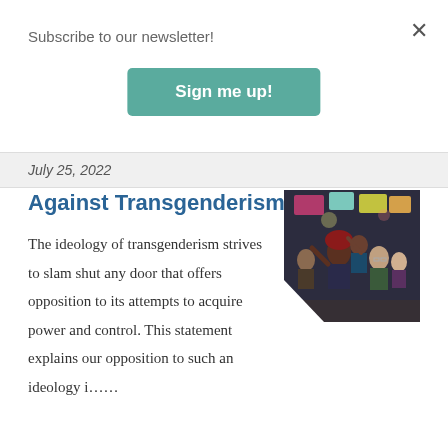Subscribe to our newsletter!
Sign me up!
July 25, 2022
Against Transgenderism
[Figure (photo): Crowd of protesters holding signs at a demonstration, photographed indoors with mixed lighting.]
The ideology of transgenderism strives to slam shut any door that offers opposition to its attempts to acquire power and control. This statement explains our opposition to such an ideology i......